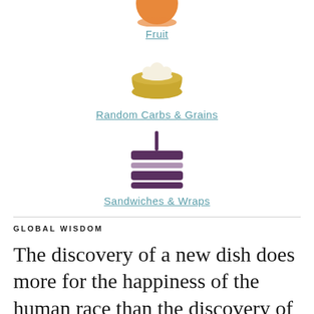[Figure (illustration): Icon of a fruit (partially visible at top, orange colored)]
Fruit
[Figure (illustration): Icon of a bowl of rice or grains, golden/yellow colored]
Random Carbs & Grains
[Figure (illustration): Icon of a sandwich or layered food item with a fork/pick, dark purple colored]
Sandwiches & Wraps
GLOBAL WISDOM
The discovery of a new dish does more for the happiness of the human race than the discovery of a star.